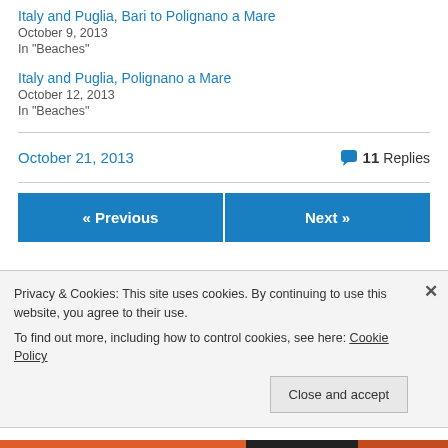Italy and Puglia, Bari to Polignano a Mare
October 9, 2013
In "Beaches"
Italy and Puglia, Polignano a Mare
October 12, 2013
In "Beaches"
October 21, 2013
💬 11 Replies
« Previous
Next »
Privacy & Cookies: This site uses cookies. By continuing to use this website, you agree to their use.
To find out more, including how to control cookies, see here: Cookie Policy
Close and accept